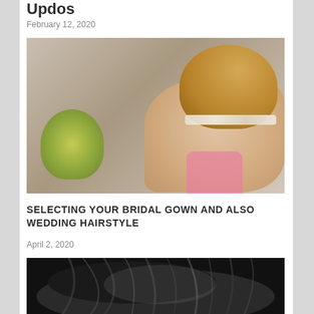Updos
February 12, 2020
[Figure (photo): Bride from behind showing ornate updo hairstyle with jeweled headband, holding a green bouquet, wearing a pink dress]
SELECTING YOUR BRIDAL GOWN AND ALSO WEDDING HAIRSTYLE
April 2, 2020
[Figure (photo): Black and white photo of a woman with loose, windswept hair covering her face]